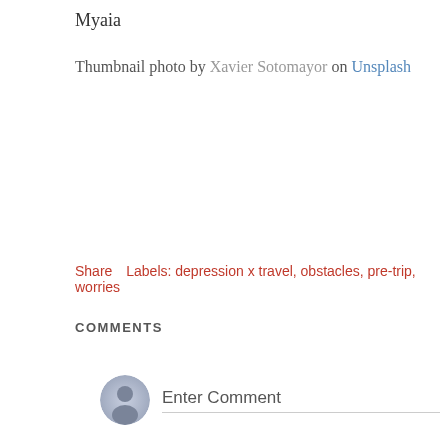Myaia
Thumbnail photo by Xavier Sotomayor on Unsplash
Share   Labels: depression x travel, obstacles, pre-trip, worries
COMMENTS
Enter Comment